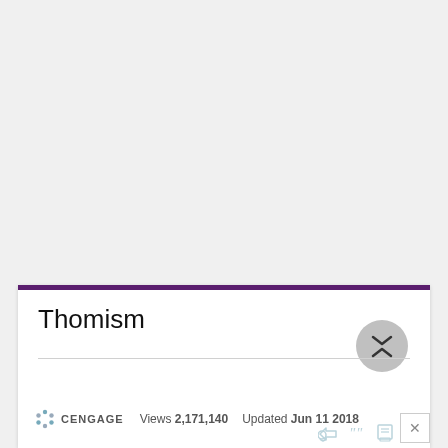Thomism
CENGAGE   Views 2,171,140   Updated Jun 11 2018